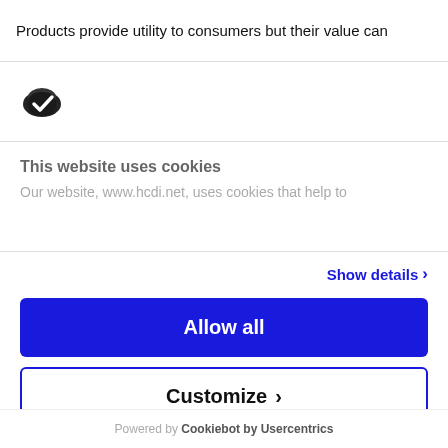Products provide utility to consumers but their value can
[Figure (logo): Cookiebot logo: dark oval/cookie shape with checkmark]
This website uses cookies
Our website, www.hcdi.net, uses cookies that help to
Show details ›
Allow all
Customize ›
Deny
Powered by Cookiebot by Usercentrics